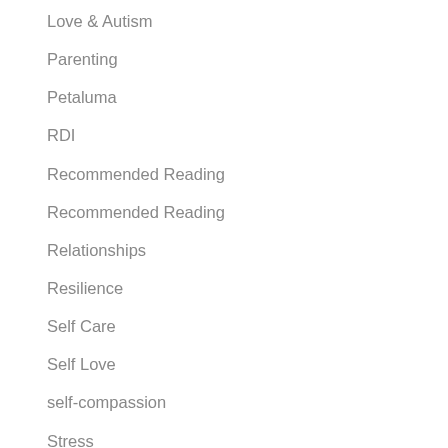Love & Autism
Parenting
Petaluma
RDI
Recommended Reading
Recommended Reading
Relationships
Resilience
Self Care
Self Love
self-compassion
Stress
Suicide